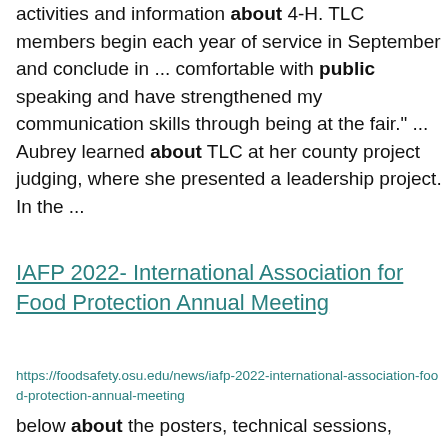activities and information about 4-H. TLC members begin each year of service in September and conclude in ... comfortable with public speaking and have strengthened my communication skills through being at the fair." ... Aubrey learned about TLC at her county project judging, where she presented a leadership project. In the ...
IAFP 2022- International Association for Food Protection Annual Meeting
https://foodsafety.osu.edu/news/iafp-2022-international-association-food-protection-annual-meeting
below about the posters, technical sessions,